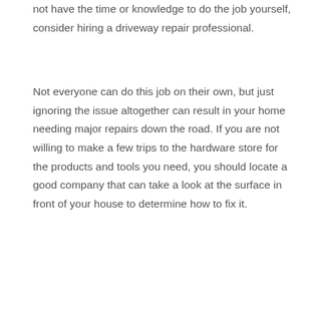not have the time or knowledge to do the job yourself, consider hiring a driveway repair professional.
Not everyone can do this job on their own, but just ignoring the issue altogether can result in your home needing major repairs down the road. If you are not willing to make a few trips to the hardware store for the products and tools you need, you should locate a good company that can take a look at the surface in front of your house to determine how to fix it.